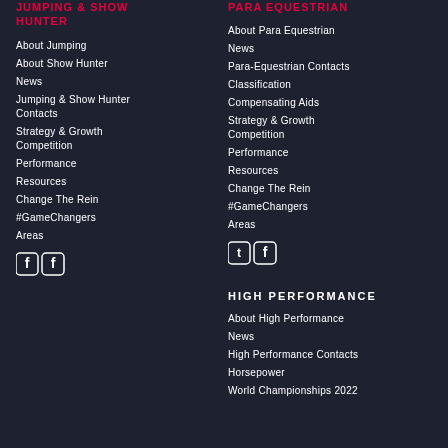JUMPING & SHOW HUNTER
About Jumping
About Show Hunter
News
Jumping & Show Hunter Contacts
Strategy & Growth Competition
Performance
Resources
Change The Rein
#GameChangers
Areas
[Figure (illustration): Two Facebook icon social media logos]
PARA EQUESTRIAN
About Para Equestrian
News
Para-Equestrian Contacts
Classification
Compensating Aids
Strategy & Growth Competition
Performance
Resources
Change The Rein
#GameChangers
Areas
[Figure (illustration): Twitter and Facebook social media icons]
HIGH PERFORMANCE
About High Performance
News
High Performance Contacts
Horsepower
World Championships 2022